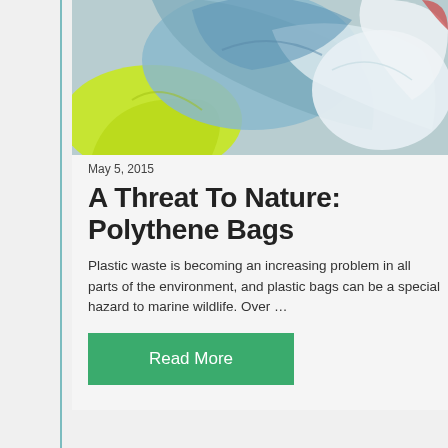[Figure (photo): A pile of colorful plastic bags — blue, yellow-green, white, and clear polythene bags crumpled together.]
May 5, 2015
A Threat To Nature: Polythene Bags
Plastic waste is becoming an increasing problem in all parts of the environment, and plastic bags can be a special hazard to marine wildlife. Over …
Read More